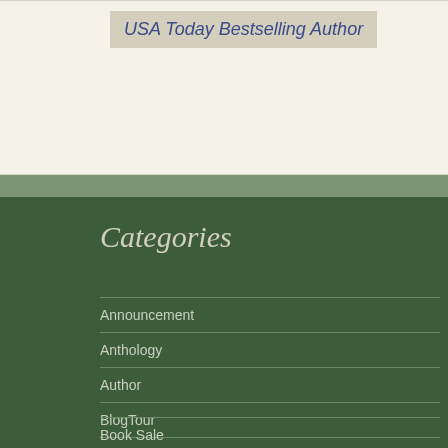USA Today Bestselling Author
Categories
Announcement
Anthology
Author
BlogTour
Book Blitz
Book Release
Book Sale